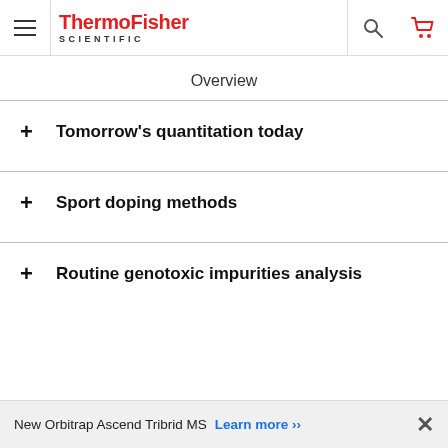ThermoFisher SCIENTIFIC
Overview
+ Tomorrow's quantitation today
+ Sport doping methods
+ Routine genotoxic impurities analysis
New Orbitrap Ascend Tribrid MS  Learn more ›› ×